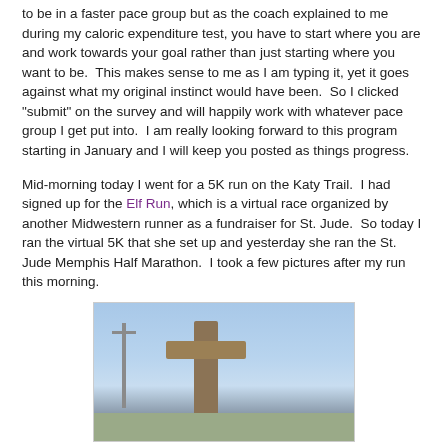to be in a faster pace group but as the coach explained to me during my caloric expenditure test, you have to start where you are and work towards your goal rather than just starting where you want to be.  This makes sense to me as I am typing it, yet it goes against what my original instinct would have been.  So I clicked "submit" on the survey and will happily work with whatever pace group I get put into.  I am really looking forward to this program starting in January and I will keep you posted as things progress.
Mid-morning today I went for a 5K run on the Katy Trail.  I had signed up for the Elf Run, which is a virtual race organized by another Midwestern runner as a fundraiser for St. Jude.  So today I ran the virtual 5K that she set up and yesterday she ran the St. Jude Memphis Half Marathon.  I took a few pictures after my run this morning.
[Figure (photo): Outdoor photo showing a large wooden cross monument against a blue sky, with a utility pole visible on the left and bare tree branches on the right, green ground at bottom.]